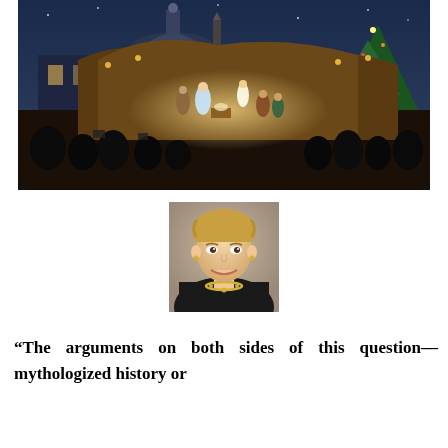[Figure (photo): Nighttime photograph of a large nativity scene display in St. Peter's Square at the Vatican, with the illuminated St. Peter's Basilica dome in the background and a Christmas tree on the right. Crowds of people surround the nativity scene.]
[Figure (photo): Portrait photograph of a smiling woman with short blonde hair wearing a dark jacket and pearl necklace, against a plain background.]
“The arguments on both sides of this question—mythologized history or